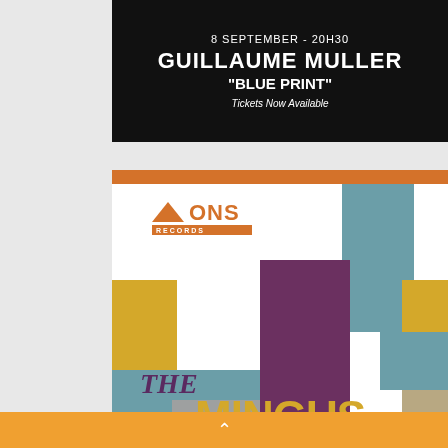[Figure (infographic): Event promotion banner on black background showing: '8 SEPTEMBER - 20H30', 'GUILLAUME MULLER', '"BLUE PRINT"', 'Tickets Now Available']
[Figure (illustration): Album cover artwork for 'THE MINGUS SESSIONS...' on Mons Records, featuring abstract geometric color blocks in teal, yellow, purple, and beige with orange top stripe.]